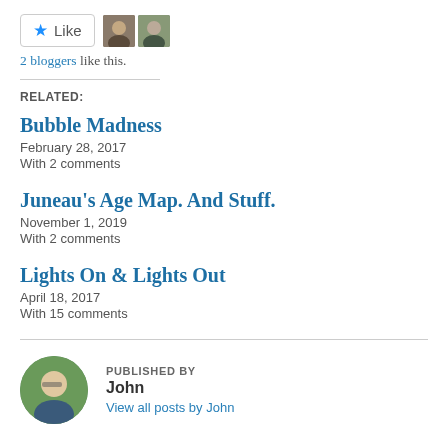[Figure (other): Like button with star icon and two blogger avatar thumbnails beside it]
2 bloggers like this.
RELATED:
Bubble Madness
February 28, 2017
With 2 comments
Juneau's Age Map. And Stuff.
November 1, 2019
With 2 comments
Lights On & Lights Out
April 18, 2017
With 15 comments
[Figure (photo): Circular avatar photo of a man with glasses outdoors]
PUBLISHED BY
John
View all posts by John